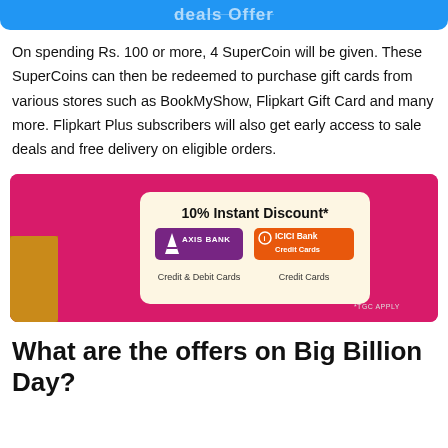deals Offer
On spending Rs. 100 or more, 4 SuperCoin will be given. These SuperCoins can then be redeemed to purchase gift cards from various stores such as BookMyShow, Flipkart Gift Card and many more. Flipkart Plus subscribers will also get early access to sale deals and free delivery on eligible orders.
[Figure (infographic): Promotional banner for 10% Instant Discount with Axis Bank Credit & Debit Cards and ICICI Bank Credit Cards on a pink background]
What are the offers on Big Billion Day?